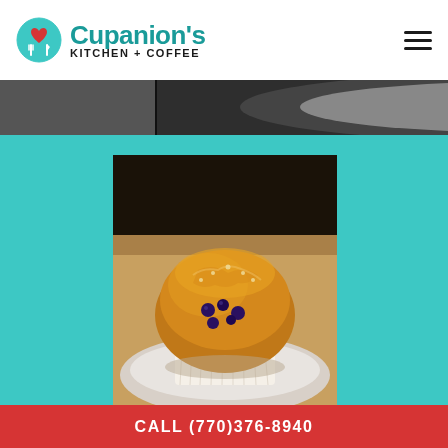Cupanion's Kitchen + Coffee
[Figure (photo): Partial top photo strip showing a plate or dish, partially cropped at the top of the page below the header]
[Figure (photo): Close-up photograph of a golden-brown blueberry muffin in a paper liner, sitting on a plate, shown against a teal background]
CALL (770)376-8940